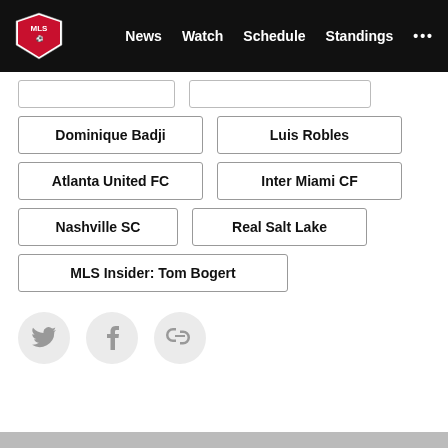MLS — News | Watch | Schedule | Standings | ...
Dominique Badji
Luis Robles
Atlanta United FC
Inter Miami CF
Nashville SC
Real Salt Lake
MLS Insider: Tom Bogert
[Figure (infographic): Three social share icon buttons: Twitter bird, Facebook f, and chain link icon, each inside a light gray circle.]